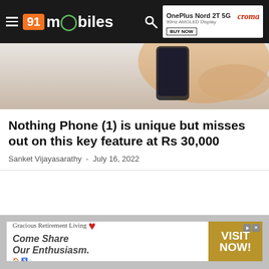91mobiles
[Figure (photo): Hand holding a smartphone, shown from above against a light gray background]
Nothing Phone (1) is unique but misses out on this key feature at Rs 30,000
Sanket Vijayasarathy  -  July 16, 2022
[Figure (other): Advertisement: Gracious Retirement Living - Come Share Our Enthusiasm. Visit Now!]